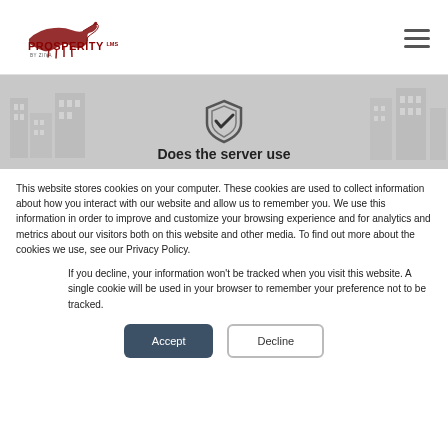[Figure (logo): Prosperity LMS by Ziiva logo with horse silhouette in dark red]
[Figure (screenshot): Website banner showing a shield with checkmark icon and partial text 'Does the server use' on a grey background with faint building illustrations]
This website stores cookies on your computer. These cookies are used to collect information about how you interact with our website and allow us to remember you. We use this information in order to improve and customize your browsing experience and for analytics and metrics about our visitors both on this website and other media. To find out more about the cookies we use, see our Privacy Policy.
If you decline, your information won't be tracked when you visit this website. A single cookie will be used in your browser to remember your preference not to be tracked.